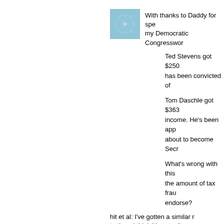[Figure (illustration): Blue square avatar with snowflake/neural network pattern]
With thanks to Daddy for spe my Democratic Congresswom
Ted Stevens got $250 has been convicted of
Tom Daschle got $363 income. He's been app about to become Secr
What's wrong with this the amount of tax frau endorse?
hit et al: I've gotten a similar r to time. I think it's actually an
P
[Figure (illustration): Green square avatar with spiral/sunburst pattern]
Wandering homeless people, his luciferian powers(claims i have you see, hear and ruin y family with kids.